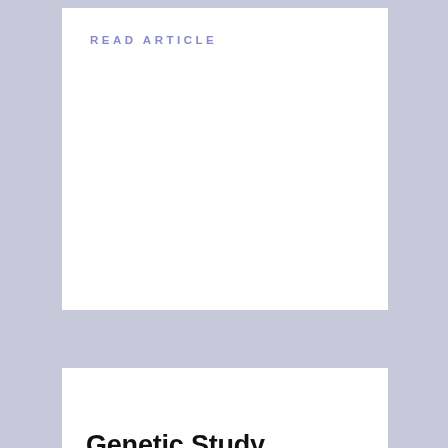READ ARTICLE
Genetic Study Reveals 25% of Men are Likely to Develop "Man Boobs" from Testosterone Treatment
READ ARTICLE